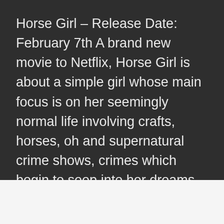Horse Girl – Release Date: February 7th A brand new movie to Netflix, Horse Girl is about a simple girl whose main focus is on her seemingly normal life involving crafts, horses, oh and supernatural crime shows, crimes which begin to seep into her dreams. Starring Alison Brie, Debby Ryan, and John Reynolds. One to watch if you loved Gone Girl!